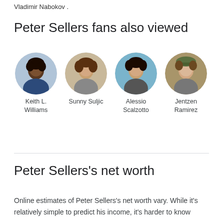Vladimir Nabokov .
Peter Sellers fans also viewed
[Figure (photo): Four circular profile photos in a row: Keith L. Williams, Sunny Suljic, Alessio Scalzotto, Jentzen Ramirez]
Peter Sellers's net worth
Online estimates of Peter Sellers's net worth vary. While it's relatively simple to predict his income, it's harder to know